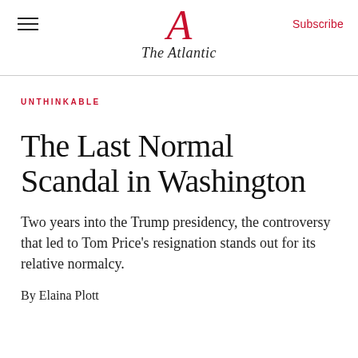The Atlantic — Subscribe
UNTHINKABLE
The Last Normal Scandal in Washington
Two years into the Trump presidency, the controversy that led to Tom Price's resignation stands out for its relative normalcy.
By Elaina Plott